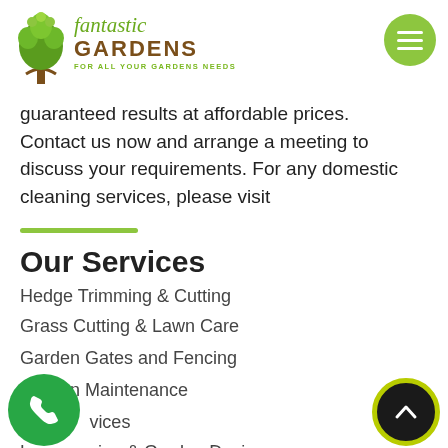Fantastic Gardens — For All Your Gardens Needs
guaranteed results at affordable prices. Contact us now and arrange a meeting to discuss your requirements. For any domestic cleaning services, please visit
Our Services
Hedge Trimming & Cutting
Grass Cutting & Lawn Care
Garden Gates and Fencing
Garden Maintenance
Tree Services
Landscaping & Garden Design